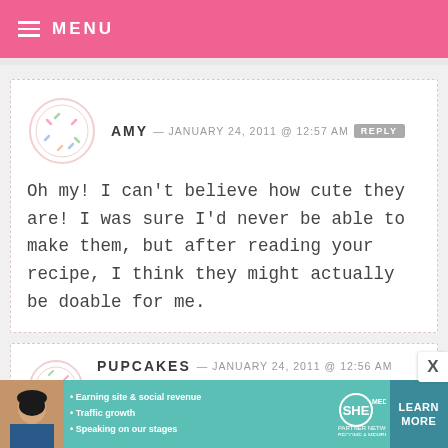≡ MENU
AMY — JANUARY 24, 2011 @ 12:57 AM  REPLY
Oh my! I can't believe how cute they are! I was sure I'd never be able to make them, but after reading your recipe, I think they might actually be doable for me.
PUPCAKES — JANUARY 24, 2011 @ 12:56 AM
REPLY
[Figure (infographic): SHE Partner Network advertisement banner with photo of woman, bullet points about earning site & social revenue, traffic growth, speaking on stages, SHE logo, and Learn More button]